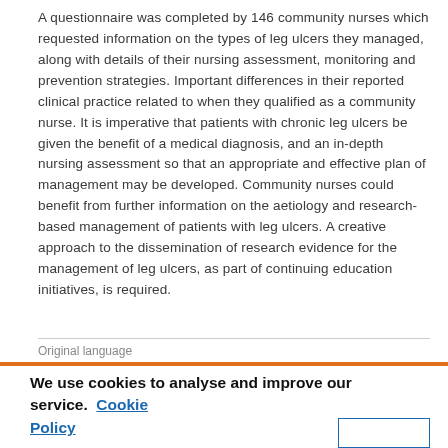A questionnaire was completed by 146 community nurses which requested information on the types of leg ulcers they managed, along with details of their nursing assessment, monitoring and prevention strategies. Important differences in their reported clinical practice related to when they qualified as a community nurse. It is imperative that patients with chronic leg ulcers be given the benefit of a medical diagnosis, and an in-depth nursing assessment so that an appropriate and effective plan of management may be developed. Community nurses could benefit from further information on the aetiology and research-based management of patients with leg ulcers. A creative approach to the dissemination of research evidence for the management of leg ulcers, as part of continuing education initiatives, is required.
Original language
We use cookies to analyse and improve our service. Cookie Policy